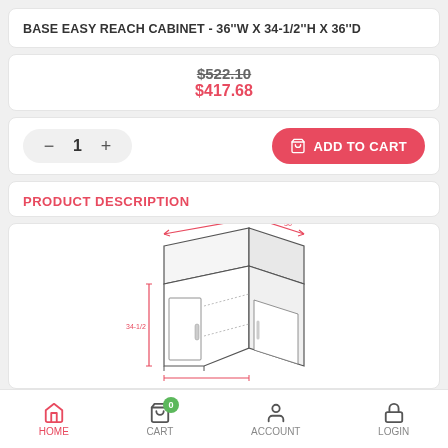BASE EASY REACH CABINET - 36''W X 34-1/2''H X 36''D
$522.10 $417.68
1   ADD TO CART
PRODUCT DESCRIPTION
[Figure (engineering-diagram): Technical line drawing of a base easy reach corner cabinet shown in isometric view with red dimension lines indicating width and depth measurements. The cabinet has two doors and internal shelving visible.]
HOME   CART   ACCOUNT   LOGIN